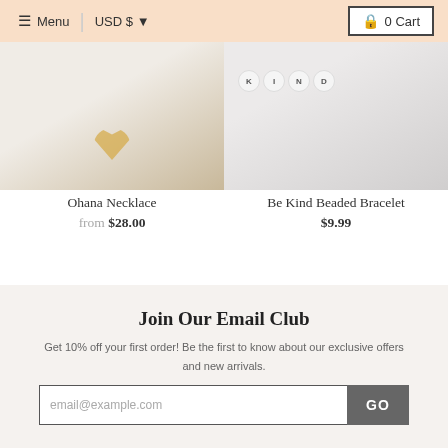≡ Menu  |  USD $  ▾  🔒 0 Cart
[Figure (photo): Two product photos side by side: left shows Ohana Necklace with gold heart pendant on white background; right shows Be Kind Beaded Bracelet with letter beads spelling KIND on marble surface]
Ohana Necklace
from $28.00
Be Kind Beaded Bracelet
$9.99
Join Our Email Club
Get 10% off your first order! Be the first to know about our exclusive offers and new arrivals.
email@example.com  GO